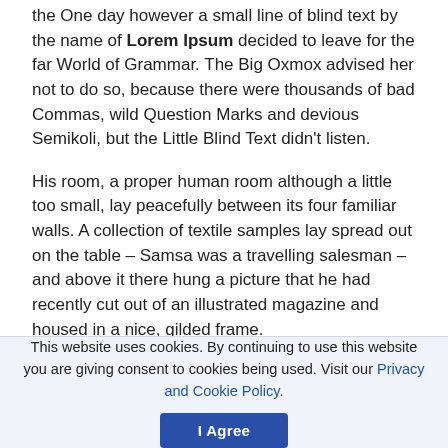the One day however a small line of blind text by the name of Lorem Ipsum decided to leave for the far World of Grammar. The Big Oxmox advised her not to do so, because there were thousands of bad Commas, wild Question Marks and devious Semikoli, but the Little Blind Text didn't listen.
His room, a proper human room although a little too small, lay peacefully between its four familiar walls. A collection of textile samples lay spread out on the table – Samsa was a travelling salesman – and above it there hung a picture that he had recently cut out of an illustrated magazine and housed in a nice, gilded frame.
It showed a lady fitted out with a fur hat and fur boa who
This website uses cookies. By continuing to use this website you are giving consent to cookies being used. Visit our Privacy and Cookie Policy.